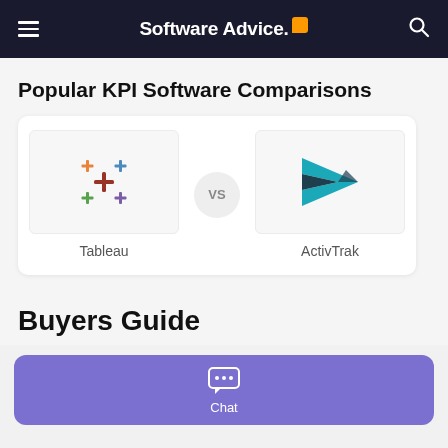Software Advice.
Popular KPI Software Comparisons
[Figure (other): Comparison card showing Tableau vs ActivTrak logos with a VS circle in between]
Buyers Guide
[Figure (other): Purple chat button bar with chat icon and Chat label]